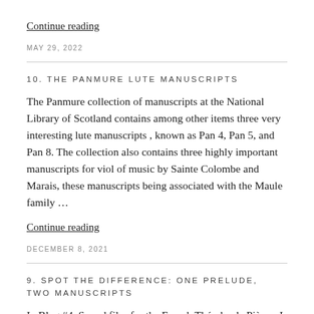Continue reading
MAY 29, 2022
10. THE PANMURE LUTE MANUSCRIPTS
The Panmure collection of manuscripts at the National Library of Scotland contains among other items three very interesting lute manuscripts , known as Pan 4, Pan 5, and Pan 8. The collection also contains three highly important manuscripts for viol of music by Sainte Colombe and Marais, these manuscripts being associated with the Maule family …
Continue reading
DECEMBER 8, 2021
9. SPOT THE DIFFERENCE: ONE PRELUDE, TWO MANUSCRIPTS
In Blog #4, Sound files for the French Théorbe de Pièces, I